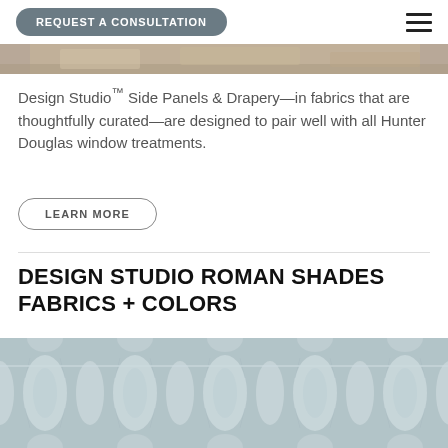REQUEST A CONSULTATION
[Figure (photo): Partial view of interior room with window treatments, cropped image strip at top]
Design Studio™ Side Panels & Drapery—in fabrics that are thoughtfully curated—are designed to pair well with all Hunter Douglas window treatments.
LEARN MORE
DESIGN STUDIO ROMAN SHADES FABRICS + COLORS
[Figure (photo): Close-up photo of a blue-grey ikat patterned fabric for Roman shades]